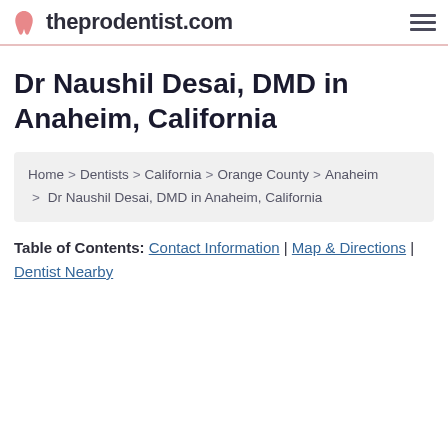theprodentist.com
Dr Naushil Desai, DMD in Anaheim, California
Home > Dentists > California > Orange County > Anaheim > Dr Naushil Desai, DMD in Anaheim, California
Table of Contents: Contact Information | Map & Directions | Dentist Nearby